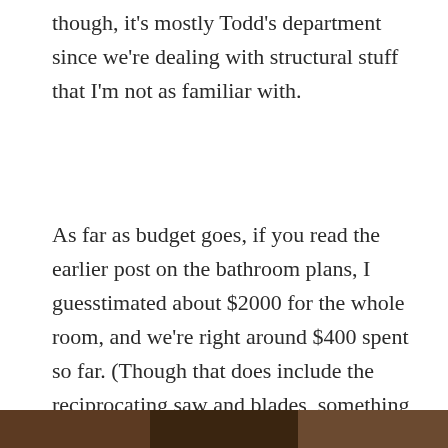though, it's mostly Todd's department since we're dealing with structural stuff that I'm not as familiar with.
As far as budget goes, if you read the earlier post on the bathroom plans, I guesstimated about $2000 for the whole room, and we're right around $400 spent so far. (Though that does include the reciprocating saw and blades, something that'll be in use for far more than this one use, so give or take ~$100.) Still plenty left for drywall, tile, paint, and fixtures (and who knows what else).
[Figure (photo): Partial view of a photo strip at the bottom of the page, showing what appears to be a renovation scene.]